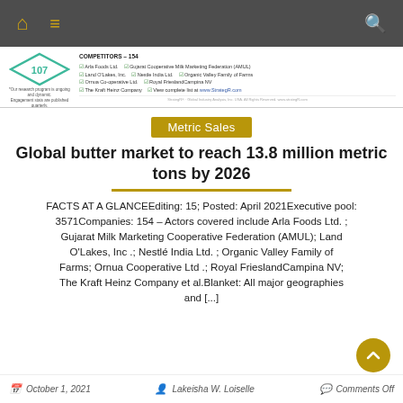Navigation bar with home, menu, and search icons
[Figure (infographic): Infographic strip showing a diamond shape with number 107, competitors count 154, and a list of competitor companies including Arla Foods Ltd., Gujarat Cooperative Milk Marketing Federation (AMUL), Land O'Lakes Inc., Nestle India Ltd., Organic Valley Family of Farms, Ornua Co-operative Ltd., Royal FrieslandCampina NV, The Kraft Heinz Company]
Metric Sales
Global butter market to reach 13.8 million metric tons by 2026
FACTS AT A GLANCEEditing: 15; Posted: April 2021Executive pool: 3571Companies: 154 – Actors covered include Arla Foods Ltd. ; Gujarat Milk Marketing Cooperative Federation (AMUL); Land O'Lakes, Inc .; Nestlé India Ltd. ; Organic Valley Family of Farms; Ornua Cooperative Ltd .; Royal FrieslandCampina NV; The Kraft Heinz Company et al.Blanket: All major geographies and [...]
October 1, 2021  Lakeisha W. Loiselle  Comments Off